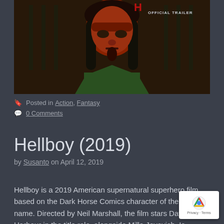[Figure (photo): Movie screenshot showing Hellboy character with red skin, dark hair, and green jacket with 'OFFICIAL TRAILER' text visible in top right corner]
Posted in Action, Fantasy
0 Comments
Hellboy (2019)
by Susanto on April 12, 2019
Hellboy is a 2019 American supernatural superhero film based on the Dark Horse Comics character of the same name. Directed by Neil Marshall, the film stars Dav Harbour in the title role, alongside Milla Jovovich, Ia McShane, Sasha Lane, Daniel Dae Kim, and Thomas